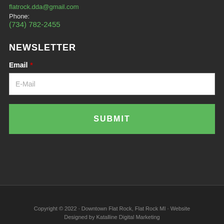flatrock.dda@gmail.com
Phone:
(734) 782-2455
NEWSLETTER
Email *
E-Mail
SUBMIT
Copyright © 2022 · Downtown Flat Rock, Flat Rock MI · Website Designed by Katalline Digital Marketing